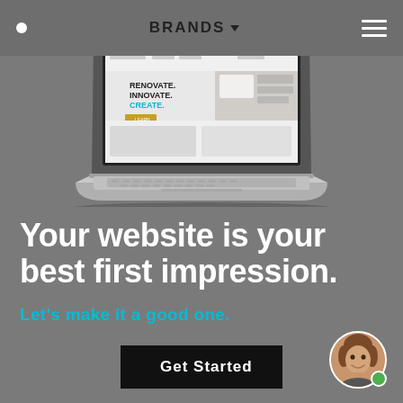[Figure (screenshot): Navigation bar with a white dot, BRANDS text with dropdown arrow, and website screenshot shown on a laptop mockup against dark gray background]
Your website is your best first impression.
Let’s make it a good one.
[Figure (photo): Circular avatar photo of a smiling woman with brown hair, with a green online status dot]
Get Started